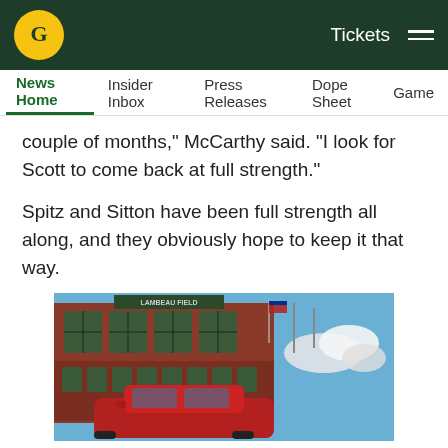Green Bay Packers website header with logo, Tickets link, and hamburger menu
News Home | Insider Inbox | Press Releases | Dope Sheet | Game...
couple of months," McCarthy said. "I look for Scott to come back at full strength."
Spitz and Sitton have been full strength all along, and they obviously hope to keep it that way.
[Figure (photo): Lambeau Field exterior with a red car in the foreground and blue sky with clouds]
[Figure (other): Social sharing icons: Facebook, Twitter, Email, Link]